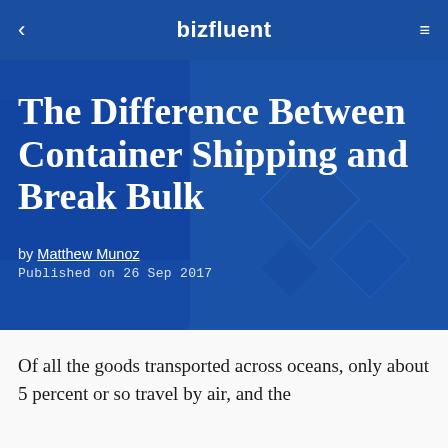bizfluent
The Difference Between Container Shipping and Break Bulk
by Matthew Munoz
Published on 26 Sep 2017
Of all the goods transported across oceans, only about 5 percent or so travel by air, and the